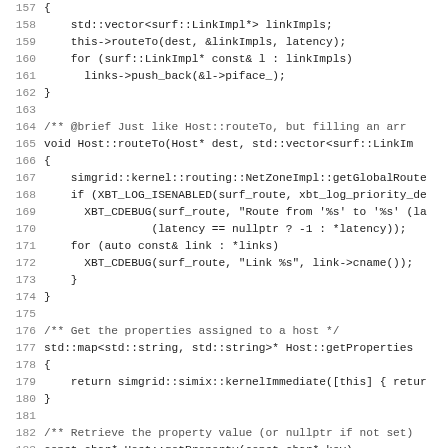Source code listing, lines 157-189, C++ code for Host routing and property methods